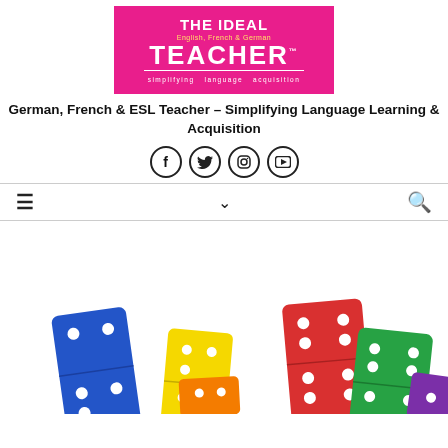[Figure (logo): The Ideal Teacher logo banner: pink background with white text reading THE IDEAL, yellow subtitle English, French & German, large white TEACHER text, white tagline simplifying language acquisition]
German, French & ESL Teacher – Simplifying Language Learning & Acquisition
[Figure (infographic): Four circular social media icons in a row: Facebook (f), Twitter (bird), Instagram (camera), YouTube (play button), all outlined circles with dark icons]
Navigation bar with hamburger menu on left, down chevron in center, search icon on right
[Figure (photo): Colorful domino tiles arranged on white background: blue, yellow, orange, red, green, purple dominoes with white dots, showing a chain/sequence of dominoes]